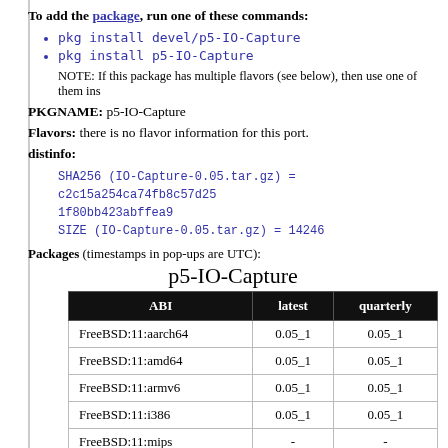To add the package, run one of these commands:
pkg install devel/p5-IO-Capture
pkg install p5-IO-Capture
NOTE: If this package has multiple flavors (see below), then use one of them ins
PKGNAME: p5-IO-Capture
Flavors: there is no flavor information for this port.
distinfo:
SHA256 (IO-Capture-0.05.tar.gz) = c2c15a254ca74fb8c57d25
1f80bb423abffea9
SIZE (IO-Capture-0.05.tar.gz) = 14246
Packages (timestamps in pop-ups are UTC):
p5-IO-Capture
| ABI | latest | quarterly |
| --- | --- | --- |
| FreeBSD:11:aarch64 | 0.05_1 | 0.05_1 |
| FreeBSD:11:amd64 | 0.05_1 | 0.05_1 |
| FreeBSD:11:armv6 | 0.05_1 | 0.05_1 |
| FreeBSD:11:i386 | 0.05_1 | 0.05_1 |
| FreeBSD:11:mips | - | - |